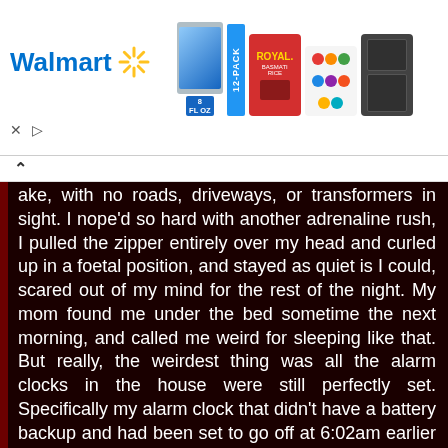[Figure (screenshot): Walmart advertisement banner with logo, products (12-pack beverages, Royal Basmati Rice bag, colorful yarn balls, black appliance), close and play buttons]
ake, with no roads, driveways, or transformers in sight. I nope'd so hard with another adrenaline rush, I pulled the zipper entirely over my head and curled up in a foetal position, and stayed as quiet is I could, scared out of my mind for the rest of the night. My mom found me under the bed sometime the next morning, and called me weird for sleeping like that. But really, the weirdest thing was all the alarm clocks in the house were still perfectly set. Specifically my alarm clock that didn't have a battery backup and had been set to go off at 6:02am earlier that evening. (I accidentally overshot 6:00 but figured it was close enough.) I'm certain it never went off, it played the radio at full blast and never failed to wake everyone. At 11am it was still set to 6:02 and ready to go off. So I either lost some time somewhere or I experienced some crazy rare electrical phenomenon. Just a really weird experience in general, this was about 4 years after my first post.